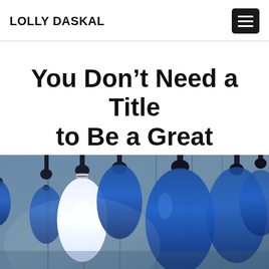LOLLY DASKAL
You Don’t Need a Title to Be a Great Leader
[Figure (photo): Close-up photograph of multiple light bulbs hanging from cords against a blue-grey background. One bulb in the center-left is glowing white/clear while the surrounding bulbs are blue-tinted and unlit.]